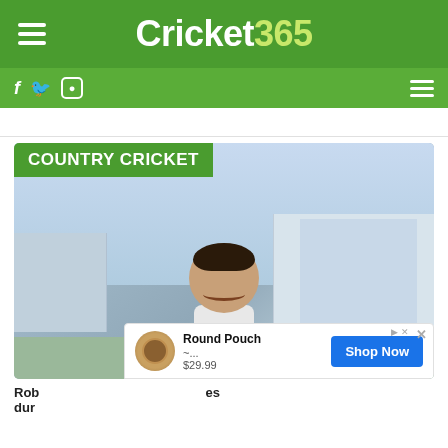Cricket365
COUNTRY CRICKET
[Figure (photo): Young man smiling outdoors near a cricket ground / stadium building, in natural light]
Rob ... dur ...
Round Pouch ~... $29.99 Shop Now